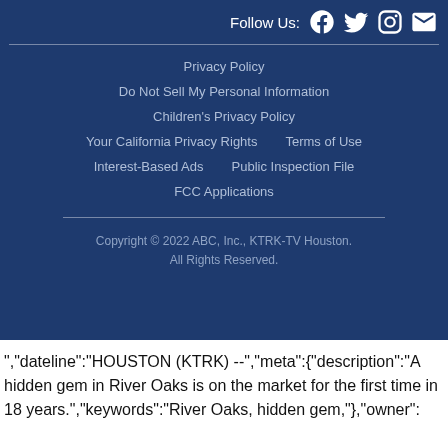Follow Us:
Privacy Policy
Do Not Sell My Personal Information
Children's Privacy Policy
Your California Privacy Rights   Terms of Use
Interest-Based Ads   Public Inspection File
FCC Applications
Copyright © 2022 ABC, Inc., KTRK-TV Houston.
All Rights Reserved.
","dateline":"HOUSTON (KTRK) --","meta":{"description":"A hidden gem in River Oaks is on the market for the first time in 18 years.","keywords":"River Oaks, hidden gem,"},"owner":